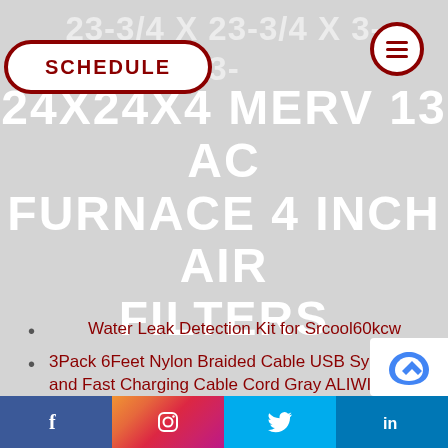23-3/4 X 23-3/4 X 3-3/4 24X24X4 MERV 13 AC FURNACE 4 INCH AIR FILTERS
Water Leak Detection Kit for Srcool60kcw
3Pack 6Feet Nylon Braided Cable USB Syncing and Fast Charging Cable Cord Gray ALIWIKI Phone Charger
Stainless Steel 20 x 20 Cup and Glass
f  [instagram]  [twitter]  in